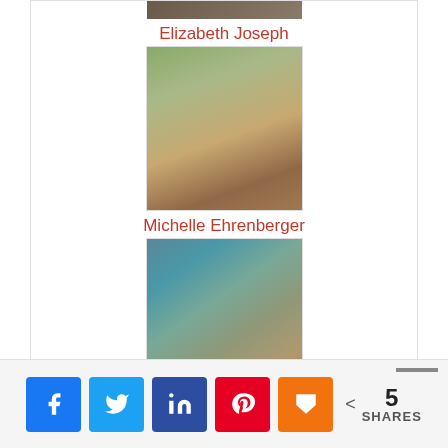[Figure (photo): Partial photo of Elizabeth Joseph (cropped at top)]
Elizabeth Joseph
[Figure (photo): Photo of Michelle Ehrenberger smiling outdoors]
Michelle Ehrenberger
[Figure (photo): Photo of Chelsea Anorma outdoors with hair blowing]
Chelsea Anorma
[Figure (photo): Photo of Marina Philip wearing a cap and glasses]
Marina Philip
5 SHARES (Facebook, Twitter, LinkedIn, Pinterest, Mix share buttons)